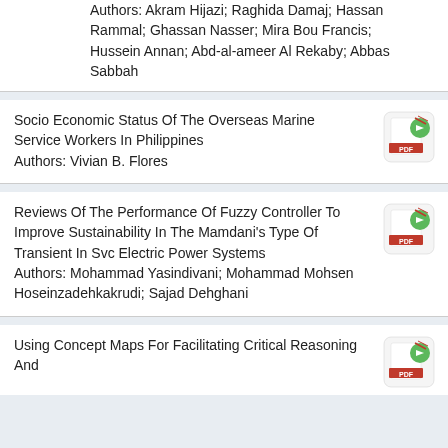Authors: Akram Hijazi; Raghida Damaj; Hassan Rammal; Ghassan Nasser; Mira Bou Francis; Hussein Annan; Abd-al-ameer Al Rekaby; Abbas Sabbah
Socio Economic Status Of The Overseas Marine Service Workers In Philippines
Authors: Vivian B. Flores
Reviews Of The Performance Of Fuzzy Controller To Improve Sustainability In The Mamdani's Type Of Transient In Svc Electric Power Systems
Authors: Mohammad Yasindivani; Mohammad Mohsen Hoseinzadehkakrudi; Sajad Dehghani
Using Concept Maps For Facilitating Critical Reasoning And